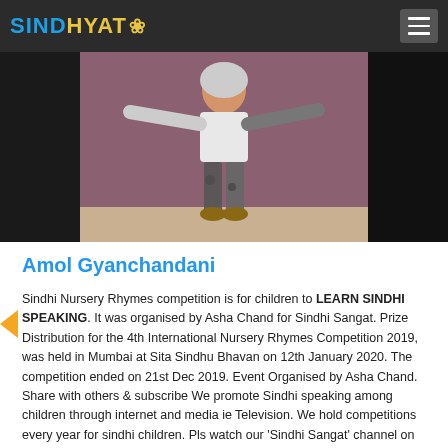SINDHYAT🌸
[Figure (photo): A child standing with arms outstretched against a pink/mauve wall, wearing a white hoodie and patterned jeans with brown shoes. The image is a video screenshot with dark borders on the sides.]
Amol Gyanchandani
Sindhi Nursery Rhymes competition is for children to LEARN SINDHI SPEAKING. It was organised by Asha Chand for Sindhi Sangat. Prize Distribution for the 4th International Nursery Rhymes Competition 2019, was held in Mumbai at Sita Sindhu Bhavan on 12th January 2020. The competition ended on 21st Dec 2019. Event Organised by Asha Chand. Share with others & subscribe We promote Sindhi speaking among children through internet and media ie Television. We hold competitions every year for sindhi children. Pls watch our 'Sindhi Sangat' channel on